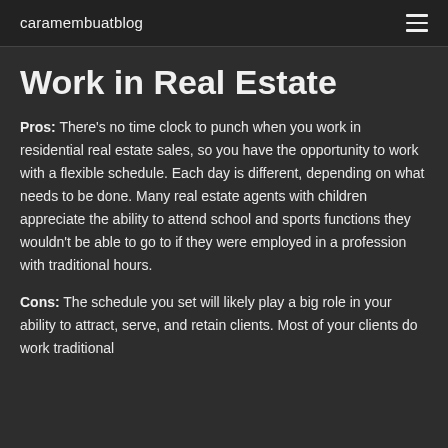caramembuatblog
Work in Real Estate
Pros: There's no time clock to punch when you work in residential real estate sales, so you have the opportunity to work with a flexible schedule. Each day is different, depending on what needs to be done. Many real estate agents with children appreciate the ability to attend school and sports functions they wouldn't be able to go to if they were employed in a profession with traditional hours.
Cons: The schedule you set will likely play a big role in your ability to attract, serve, and retain clients. Most of your clients do work traditional